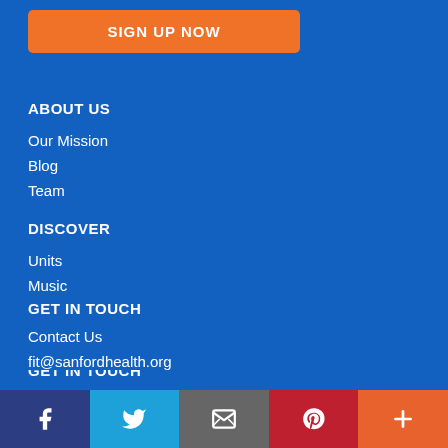SIGN UP NOW
ABOUT US
Our Mission
Blog
Team
DISCOVER
Units
Music
fitGames
fitClub
GET IN TOUCH
Contact Us
fit@sanfordhealth.org
[Figure (infographic): Social media icon bar with Facebook, Twitter, Email, Pinterest, and More buttons]